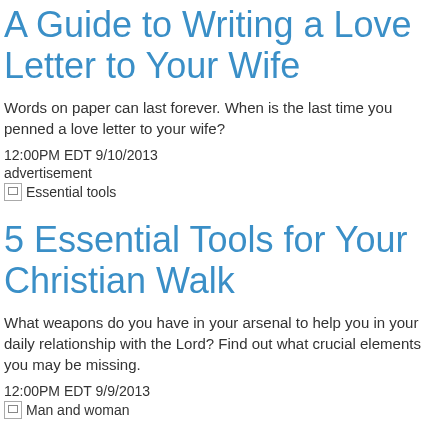A Guide to Writing a Love Letter to Your Wife
Words on paper can last forever. When is the last time you penned a love letter to your wife?
12:00PM EDT 9/10/2013
advertisement
[Figure (photo): Broken image placeholder labeled 'Essential tools']
5 Essential Tools for Your Christian Walk
What weapons do you have in your arsenal to help you in your daily relationship with the Lord? Find out what crucial elements you may be missing.
12:00PM EDT 9/9/2013
[Figure (photo): Broken image placeholder labeled 'Man and woman']